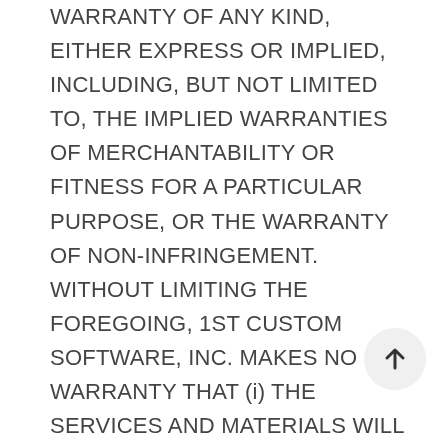WARRANTY OF ANY KIND, EITHER EXPRESS OR IMPLIED, INCLUDING, BUT NOT LIMITED TO, THE IMPLIED WARRANTIES OF MERCHANTABILITY OR FITNESS FOR A PARTICULAR PURPOSE, OR THE WARRANTY OF NON-INFRINGEMENT. WITHOUT LIMITING THE FOREGOING, 1ST CUSTOM SOFTWARE, INC. MAKES NO WARRANTY THAT (i) THE SERVICES AND MATERIALS WILL MEET YOUR REQUIREMENTS; (ii) THE SERVICES AND MATERIALS WILL BE UNINTERRUPTED, TIMELY, SECURE, OR ERROR-FREE; (iii) THE RESULTS THAT MAY BE OBTAINED FROM THE USE OF THE SERVICES OR MATERIALS WILL BE EFFECTIVE, ACCURATE, OR RELIABLE; (iv) THE QUALITY OF ANY PRODUCTS,